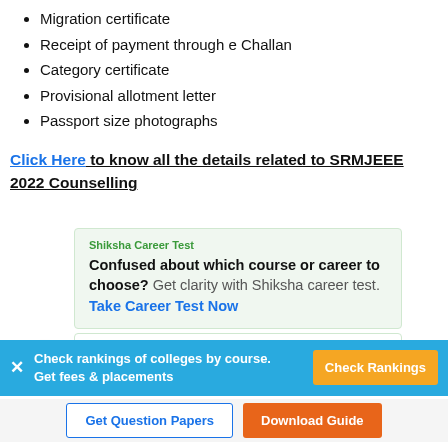Migration certificate
Receipt of payment through e Challan
Category certificate
Provisional allotment letter
Passport size photographs
Click Here to know all the details related to SRMJEEE 2022 Counselling
[Figure (infographic): Shiksha Career Test card: Confused about which course or career to choose? Get clarity with Shiksha career test. Take Career Test Now]
[Figure (infographic): Colleges Rankings card: Colleges Rankings by course Get]
Check rankings of colleges by course. Get fees & placements
Get Question Papers
Download Guide